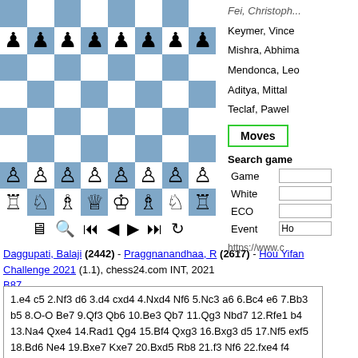[Figure (other): Chess board showing a position with pieces: row of pawns on rank 7, and back rank pieces (rook, knight, bishop, queen, king, bishop, knight, rook) on rank 8, with alternating blue and white squares.]
[Figure (other): Chess control buttons: computer icon, magnify icon, skip-to-start, back, forward, skip-to-end, refresh]
Daggupati, Balaji (2442) - Praggnanandhaa, R (2617) - Hou Yifan Challenge 2021 (1.1), chess24.com INT, 2021 B87
1.e4 c5 2.Nf3 d6 3.d4 cxd4 4.Nxd4 Nf6 5.Nc3 a6 6.Bc4 e6 7.Bb3 b5 8.O-O Be7 9.Qf3 Qb6 10.Be3 Qb7 11.Qg3 Nbd7 12.Rfe1 b4 13.Na4 Qxe4 14.Rad1 Qg4 15.Bf4 Qxg3 16.Bxg3 d5 17.Nf5 exf5 18.Bd6 Ne4 19.Bxe7 Kxe7 20.Bxd5 Rb8 21.f3 Nf6 22.fxe4 f4 23.Nc5 Rd8 24.Nd3 g5 25.Ne5 Bd7 26.Bxf7 Rb5 27.Bd5 Be8 28.Nf3 Bh5 29.Rd3 Bxf3 30.gxf3 h5 31.Bc4 Rc5 32.Rxd8 Kxd8
Keymer, Vince
Mishra, Abhima
Mendonca, Leo
Aditya, Mittal
Teclaf, Pawel
Moves
Search game
| Game |  |
| --- | --- |
| White |  |
| ECO |  |
| Event | Ho |
Show games with this position (<=500)
Find novelty
https://www.c